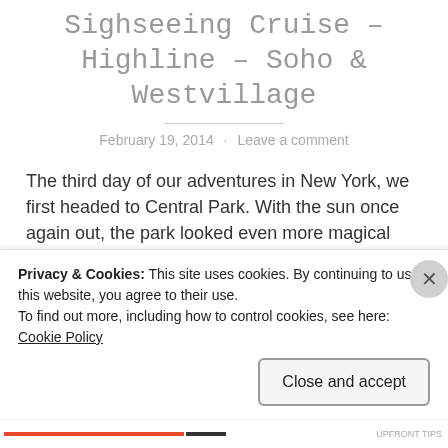Sighseeing Cruise – Highline – Soho & Westvillage
February 19, 2014 · Leave a comment
The third day of our adventures in New York, we first headed to Central Park. With the sun once again out, the park looked even more magical than the first evening we went there. We got of the metro at 77 St and first headed toward the 'Alice in
Privacy & Cookies: This site uses cookies. By continuing to use this website, you agree to their use.
To find out more, including how to control cookies, see here: Cookie Policy